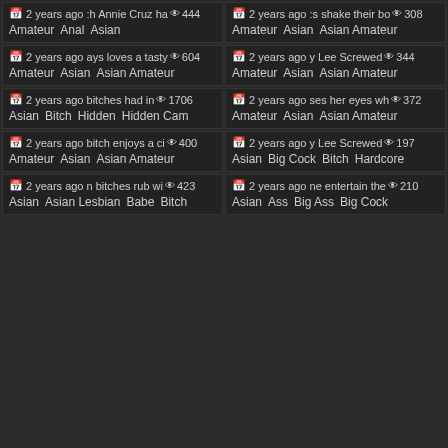2 years ago :h Annie Cruz ha 444 Amateur Anal Asian
2 years ago :s shake their bo 308 Amateur Asian Asian Amateur
2 years ago ays loves a tasty 604 Amateur Asian Asian Amateur
2 years ago y Lee Screwed 344 Amateur Asian Asian Amateur
2 years ago bitches had in 1706 Asian Bitch Hidden Hidden Cam
2 years ago ses her eyes wh 372 Amateur Asian Asian Amateur
2 years ago bitch enjoys a ci 400 Amateur Asian Asian Amateur
2 years ago y Lee Screwed 197 Asian Big Cock Bitch Hardcore
2 years ago n bitches rub wi 423 Asian Asian Lesbian Babe Bitch
2 years ago ne entertain the 210 Asian Ass Big Ass Big Cock